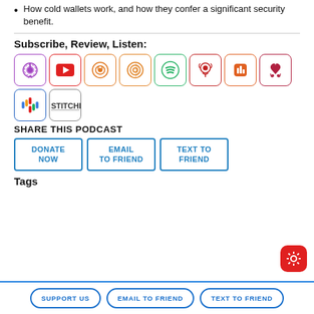How cold wallets work, and how they confer a significant security benefit.
Subscribe, Review, Listen:
[Figure (infographic): Row of podcast platform icons: Apple Podcasts, YouTube, Overcast, Pocket Casts, Spotify, Podcast Republic, Castbox, iHeartRadio, Google Podcasts, Stitcher]
SHARE THIS PODCAST
[Figure (infographic): Three buttons: DONATE NOW, EMAIL TO FRIEND, TEXT TO FRIEND]
Tags
SUPPORT US   EMAIL TO FRIEND   TEXT TO FRIEND